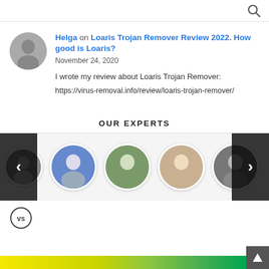Search icon
Helga on Loaris Trojan Remover Review 2022. How good is Loaris?
November 24, 2020
I wrote my review about Loaris Trojan Remover:
https://virus-removal.info/review/loaris-trojan-remover/
OUR EXPERTS
[Figure (photo): Carousel of expert profile photos with left and right navigation arrows]
[Figure (logo): VS logo circle icon]
[Figure (infographic): Yellow-green gradient color bar at the bottom with scroll-up arrow button]